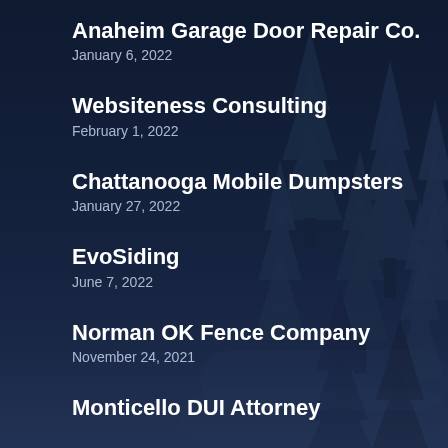Anaheim Garage Door Repair Co.
January 6, 2022
Websiteness Consulting
February 1, 2022
Chattanooga Mobile Dumpsters
January 27, 2022
EvoSiding
June 7, 2022
Norman OK Fence Company
November 24, 2021
Monticello DUI Attorney